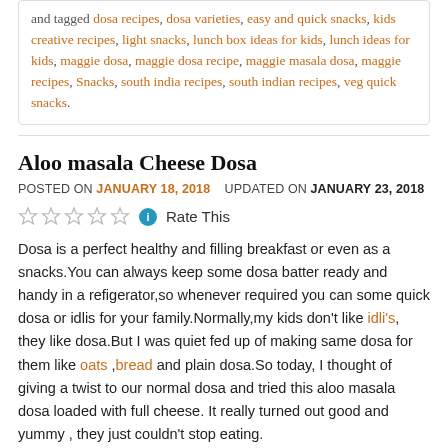and tagged dosa recipes, dosa varieties, easy and quick snacks, kids creative recipes, light snacks, lunch box ideas for kids, lunch ideas for kids, maggie dosa, maggie dosa recipe, maggie masala dosa, maggie recipes, Snacks, south india recipes, south indian recipes, veg quick snacks.
Aloo masala Cheese Dosa
POSTED ON JANUARY 18, 2018   UPDATED ON JANUARY 23, 2018
Rate This
Dosa is a perfect healthy and filling breakfast or even as a snacks.You can always keep some dosa batter ready and handy in a refigerator,so whenever required you can some quick dosa or idlis for your family.Normally,my kids don't like idli's, they like dosa.But I was quiet fed up of making same dosa for them like oats ,bread and plain dosa.So today, I thought of giving a twist to our normal dosa and tried this aloo masala dosa loaded with full cheese. It really turned out good and yummy , they just couldn't stop eating.
I am going to share with you some tips to get a nice dosa at home...